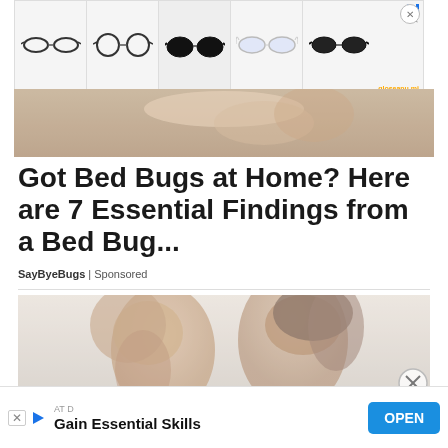[Figure (screenshot): Top advertisement banner showing multiple pairs of eyeglasses/sunglasses with a brand logo and close button]
[Figure (photo): Partial photo showing a person with a cat or animal, cropped hero image at top of article]
Got Bed Bugs at Home? Here are 7 Essential Findings from a Bed Bug...
SayByeBugs | Sponsored
[Figure (photo): Photo of a couple facing each other closely, smiling, man and woman, faded/light treatment]
[Figure (screenshot): Bottom advertisement banner: ATD - Gain Essential Skills with OPEN button]